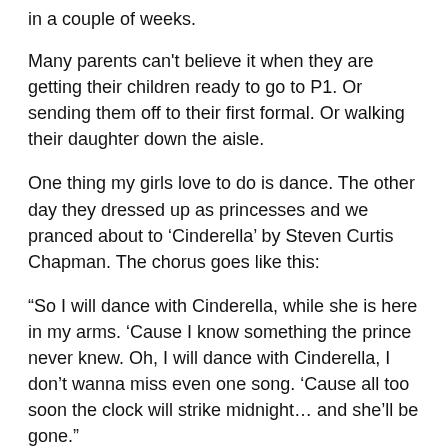in a couple of weeks.
Many parents can't believe it when they are getting their children ready to go to P1. Or sending them off to their first formal. Or walking their daughter down the aisle.
One thing my girls love to do is dance. The other day they dressed up as princesses and we pranced about to 'Cinderella' by Steven Curtis Chapman. The chorus goes like this:
“So I will dance with Cinderella, while she is here in my arms. ‘Cause I know something the prince never knew. Oh, I will dance with Cinderella, I don’t wanna miss even one song. ‘Cause all too soon the clock will strike midnight… and she’ll be gone.”